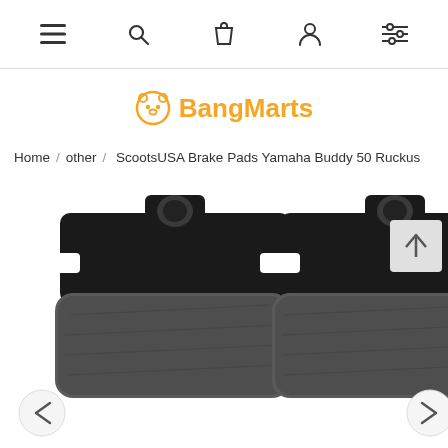Navigation bar with menu, search, cart, account, and filter icons
[Figure (logo): BangMarts logo with orange bear icon and orange bold text 'BangMarts']
Home / other / ScootsUSA Brake Pads Yamaha Buddy 50 Ruckus
[Figure (photo): Two black brake pads for Yamaha Buddy 50 / Ruckus scooter, viewed from above on white background, with metal backing plates and friction material visible. Carousel navigation arrows on left and right.]